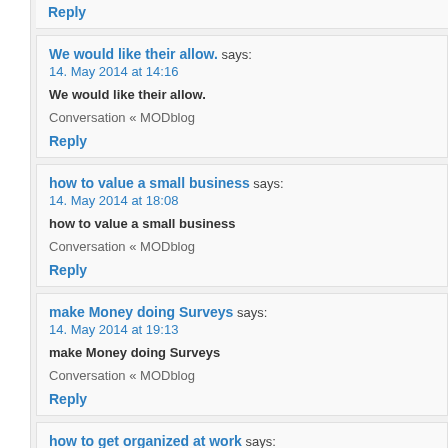Reply
We would like their allow. says:
14. May 2014 at 14:16
We would like their allow.
Conversation « MODblog
Reply
how to value a small business says:
14. May 2014 at 18:08
how to value a small business
Conversation « MODblog
Reply
make Money doing Surveys says:
14. May 2014 at 19:13
make Money doing Surveys
Conversation « MODblog
Reply
how to get organized at work says: